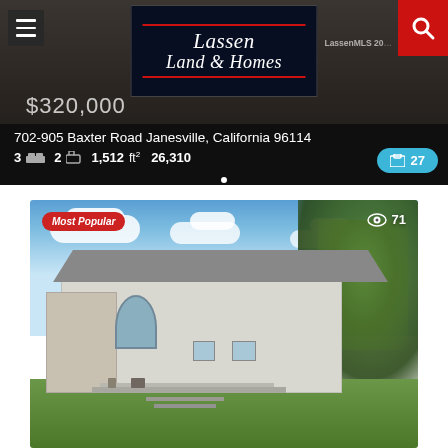[Figure (screenshot): Real estate listing page for Lassen Land & Homes showing a property at 702-905 Baxter Road Janesville, California 96114 priced at $320,000 with 3 beds, 2 baths, 1,512 sq ft, 26,310 lot size and 27 photos]
$320,000
702-905 Baxter Road Janesville, California 96114
3 bed  2 bath  1,512 ft²  26,310
[Figure (photo): Exterior photo of a single-story white/gray house with large arched front window, covered deck with patio furniture, and lush green lawn under blue sky with clouds. Badge: Most Popular. Views: 71.]